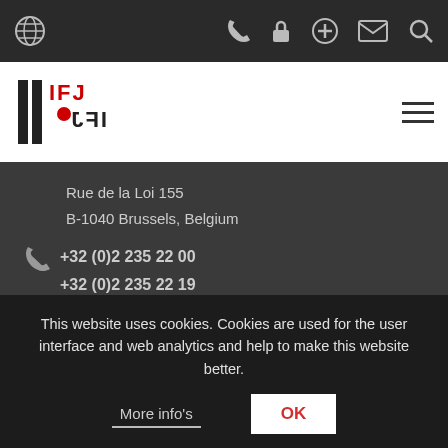IFJ website navigation bar with globe, phone, lock, plus, mail, search icons
[Figure (logo): IFJ / FIJ logo in red and black with hamburger menu icon]
Rue de la Loi 155
B-1040 Brussels, Belgium
+32 (0)2 235 22 00
+32 (0)2 235 22 19
ifj@ifj.org
About IFJ
The International Federation of Journalists is the global voice of
This website uses cookies. Cookies are used for the user interface and web analytics and help to make this website better.